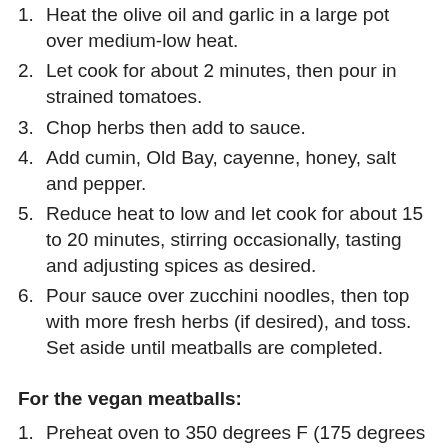1. Heat the olive oil and garlic in a large pot over medium-low heat.
2. Let cook for about 2 minutes, then pour in strained tomatoes.
3. Chop herbs then add to sauce.
4. Add cumin, Old Bay, cayenne, honey, salt and pepper.
5. Reduce heat to low and let cook for about 15 to 20 minutes, stirring occasionally, tasting and adjusting spices as desired.
6. Pour sauce over zucchini noodles, then top with more fresh herbs (if desired), and toss. Set aside until meatballs are completed.
For the vegan meatballs:
1. Preheat oven to 350 degrees F (175 degrees C).
2. Line a baking sheet with parchment paper.
3. Wash mushrooms and herbs well, let drain.